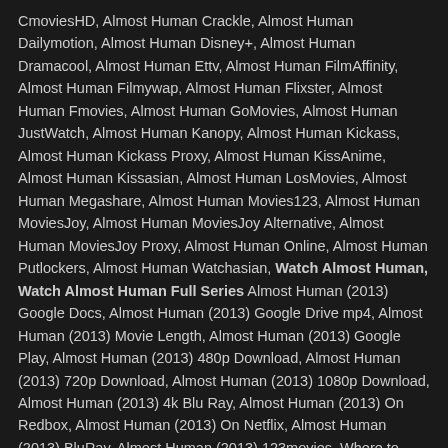CmoviesHD, Almost Human Crackle, Almost Human Dailymotion, Almost Human Disney+, Almost Human Dramacool, Almost Human Ettv, Almost Human FilmAffinity, Almost Human Filmywap, Almost Human Flixster, Almost Human Fmovies, Almost Human GoMovies, Almost Human JustWatch, Almost Human Kanopy, Almost Human Kickass, Almost Human Kickass Proxy, Almost Human KissAnime, Almost Human Kissasian, Almost Human LosMovies, Almost Human Megashare, Almost Human Movies123, Almost Human MoviesJoy, Almost Human MoviesJoy Alternative, Almost Human MoviesJoy Proxy, Almost Human Online, Almost Human Putlockers, Almost Human Watchasian, Watch Almost Human, Watch Almost Human Full Series Almost Human (2013) Google Docs, Almost Human (2013) Google Drive mp4, Almost Human (2013) Movie Length, Almost Human (2013) Google Play, Almost Human (2013) 480p Download, Almost Human (2013) 720p Download, Almost Human (2013) 1080p Download, Almost Human (2013) 4k Blu Ray, Almost Human (2013) On Redbox, Almost Human (2013) On Netflix, Almost Human (2013) BluRay, Almost Human (2013) 123movies, Where to Watch Almost Human (2013) Online, Almost Human (2013) HD stream, Almost Human (2013) HD Free Online, Almost Human (2013) HD Full Movie, How to Watch Almost Human (2013) Online, Rent Almost Human (2013) Online Movie HD, Almost Human (2013) Movie Streaming Online, Almost Human (2013) Movie LIVE Stream, Almost Human (2013) Movie on Netflix, Watch